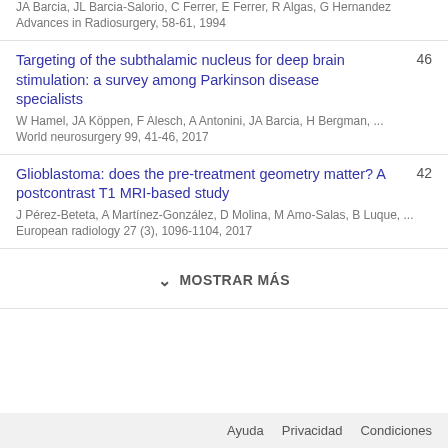JA Barcia, JL Barcia-Salorio, C Ferrer, E Ferrer, R Algas, G Hernandez
Advances in Radiosurgery, 58-61, 1994
Targeting of the subthalamic nucleus for deep brain stimulation: a survey among Parkinson disease specialists
W Hamel, JA Köppen, F Alesch, A Antonini, JA Barcia, H Bergman, ...
World neurosurgery 99, 41-46, 2017
Glioblastoma: does the pre-treatment geometry matter? A postcontrast T1 MRI-based study
J Pérez-Beteta, A Martínez-González, D Molina, M Amo-Salas, B Luque, ...
European radiology 27 (3), 1096-1104, 2017
MOSTRAR MÁS
Ayuda   Privacidad   Condiciones